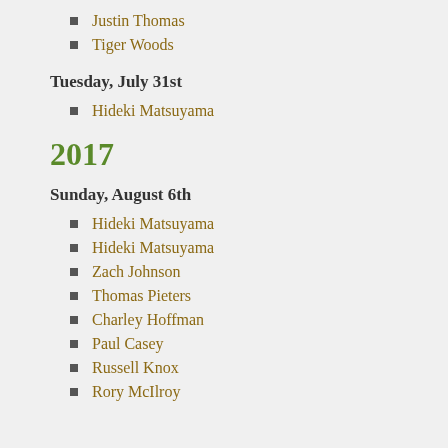Justin Thomas
Tiger Woods
Tuesday, July 31st
Hideki Matsuyama
2017
Sunday, August 6th
Hideki Matsuyama
Hideki Matsuyama
Zach Johnson
Thomas Pieters
Charley Hoffman
Paul Casey
Russell Knox
Rory McIlroy